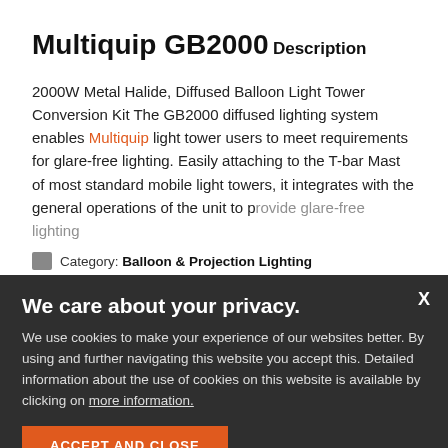Multiquip GB2000
Description
2000W Metal Halide, Diffused Balloon Light Tower Conversion Kit The GB2000 diffused lighting system enables Multiquip light tower users to meet requirements for glare-free lighting. Easily attaching to the T-bar Mast of most standard mobile light towers, it integrates with the general operations of the unit to provide glare-free lighting
We care about your privacy. We use cookies to make your experience of our websites better. By using and further navigating this website you accept this. Detailed information about the use of cookies on this website is available by clicking on more information.
Category: Balloon & Projection Lighting
ACCEPT AND CLOSE
Subcategory: Lighting Systems
English